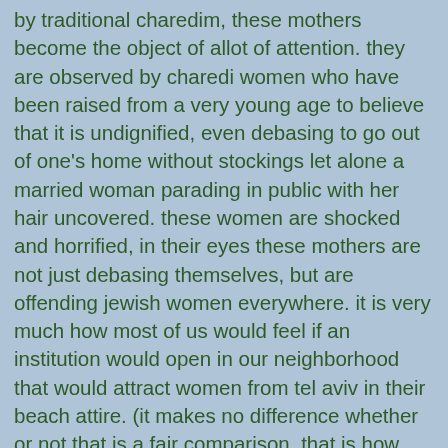by traditional charedim, these mothers become the object of allot of attention. they are observed by charedi women who have been raised from a very young age to believe that it is undignified, even debasing to go out of one's home without stockings let alone a married woman parading in public with her hair uncovered. these women are shocked and horrified, in their eyes these mothers are not just debasing themselves, but are offending jewish women everywhere. it is very much how most of us would feel if an institution would open in our neighborhood that would attract women from tel aviv in their beach attire. (it makes no difference whether or not that is a fair comparison, that is how they feel about it in my hypothetical scenario, as well as in real life). these women speak to their friends, who in turn speak to still more friends, and soon it is the talk of the town. soon women are turning to their husbands and demanding that something be done about this offensive behavior. most of the husbands decline to get involved. they explain to their wives and daughters that even though we live in eretz yisroel, we are still in galus. we can't fix everything or make the world run as we feel it should. but a few, perhaps those who are in unstable marriages, or those who have hot headed